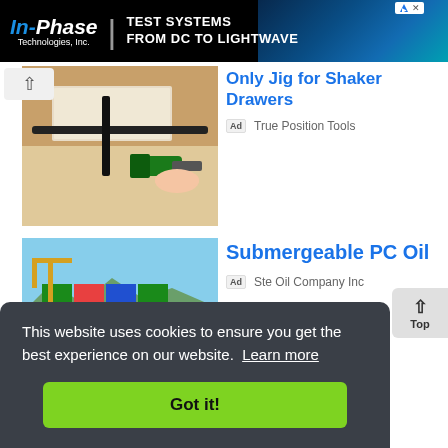[Figure (screenshot): In-Phase Technologies banner ad with text TEST SYSTEMS FROM DC TO LIGHTWAVE on dark background with fiber optic imagery]
[Figure (photo): Photo of a jig tool being used on shaker drawers with a drill]
Only Jig for Shaker Drawers
Ad True Position Tools
[Figure (photo): Cargo container ship on ocean water]
Submergeable PC Oil
Ad Ste Oil Company Inc
This website uses cookies to ensure you get the best experience on our website. Learn more
Got it!
[Figure (screenshot): Partial bottom row showing tire/wheel images and TRUEGRID Paver ad]